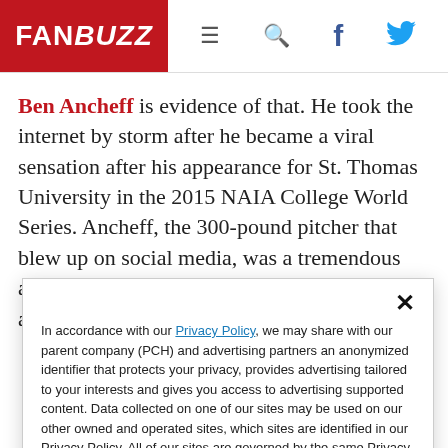FAN BUZZ
Ben Ancheff is evidence of that. He took the internet by storm after he became a viral sensation after his appearance for St. Thomas University in the 2015 NAIA College World Series. Ancheff, the 300-pound pitcher that blew up on social media, was a tremendous athlete for his size, playing baseball, football, and wrestling in
In accordance with our Privacy Policy, we may share with our parent company (PCH) and advertising partners an anonymized identifier that protects your privacy, provides advertising tailored to your interests and gives you access to advertising supported content. Data collected on one of our sites may be used on our other owned and operated sites, which sites are identified in our Privacy Policy. All of our sites are governed by the same Privacy Policy, and by proceeding to access this site, you are consenting to that Privacy Policy.